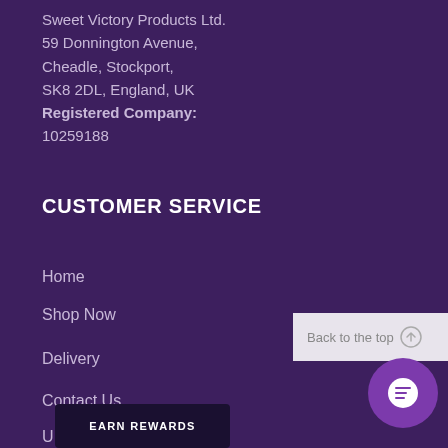Sweet Victory Products Ltd.
59 Donnington Avenue,
Cheadle, Stockport,
SK8 2DL, England, UK
Registered Company:
10259188
CUSTOMER SERVICE
Home
Shop Now
Delivery
Contact Us
[Figure (other): Back to the top button with upward arrow icon]
[Figure (other): Purple circular chat bubble icon]
[Figure (other): Dark Earn Rewards button]